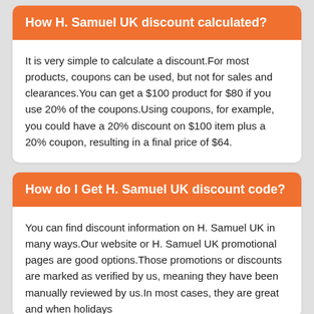How H. Samuel UK discount calculated?
It is very simple to calculate a discount.For most products, coupons can be used, but not for sales and clearances.You can get a $100 product for $80 if you use 20% of the coupons.Using coupons, for example, you could have a 20% discount on $100 item plus a 20% coupon, resulting in a final price of $64.
How do I Get H. Samuel UK discount code?
You can find discount information on H. Samuel UK in many ways.Our website or H. Samuel UK promotional pages are good options.Those promotions or discounts are marked as verified by us, meaning they have been manually reviewed by us.In most cases, they are great and when holidays